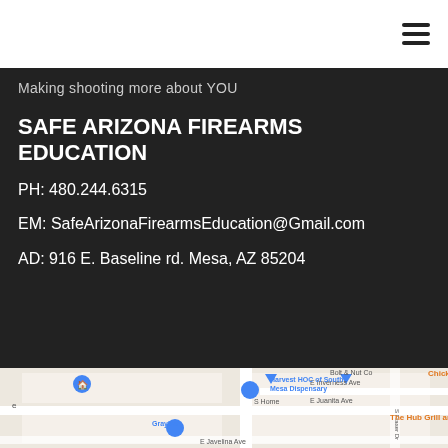≡ (hamburger menu icon)
Making shooting more about YOU
SAFE ARIZONA FIREARMS EDUCATION
PH: 480.244.6315
EM: SafeArizonaFirearmsEducation@Gmail.com
AD: 916 E. Baseline rd. Mesa, AZ 85204
[Figure (map): Google Maps screenshot showing the area around 916 E Baseline Rd, Mesa AZ 85204. Shows Harvest HOC of South Mesa Dispensary, Graybar, Bolt & Nut Co, E Juanita Ave, S Home, S Fraser Dr, E Inverness Ave, The Hub Grill and Bar (orange), Chick (orange partial), E Javelina Ave.]